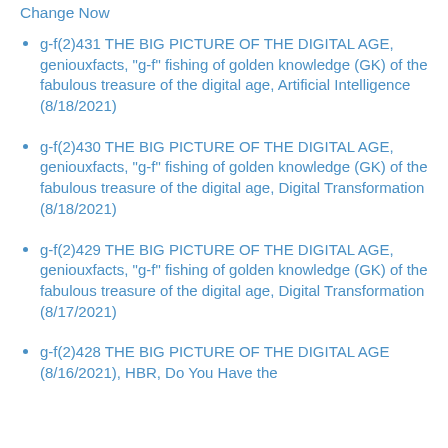Change Now
g-f(2)431 THE BIG PICTURE OF THE DIGITAL AGE, geniouxfacts, "g-f" fishing of golden knowledge (GK) of the fabulous treasure of the digital age, Artificial Intelligence (8/18/2021)
g-f(2)430 THE BIG PICTURE OF THE DIGITAL AGE, geniouxfacts, "g-f" fishing of golden knowledge (GK) of the fabulous treasure of the digital age, Digital Transformation (8/18/2021)
g-f(2)429 THE BIG PICTURE OF THE DIGITAL AGE, geniouxfacts, "g-f" fishing of golden knowledge (GK) of the fabulous treasure of the digital age, Digital Transformation (8/17/2021)
g-f(2)428 THE BIG PICTURE OF THE DIGITAL AGE (8/16/2021), HBR, Do You Have the